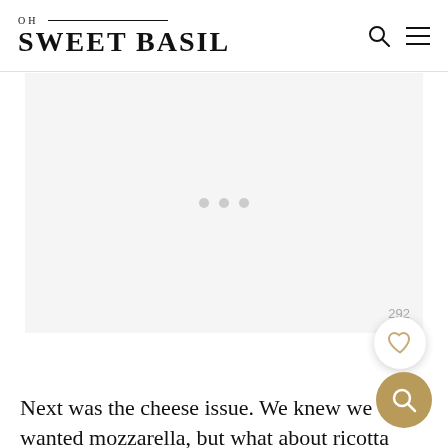OH SWEET BASIL
[Figure (other): Advertisement placeholder area with three grey dots centered]
292
Next was the cheese issue. We knew we wanted mozzarella, but what about ricotta mixtures and